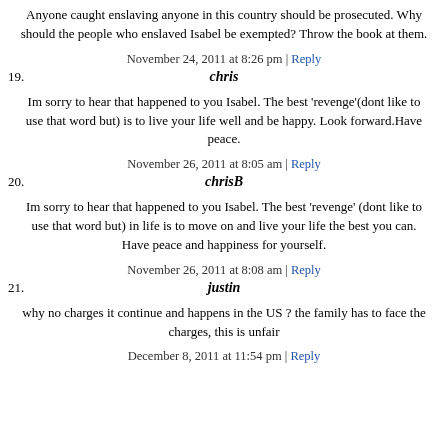Anyone caught enslaving anyone in this country should be prosecuted. Why should the people who enslaved Isabel be exempted? Throw the book at them.
November 24, 2011 at 8:26 pm | Reply
19. chris
Im sorry to hear that happened to you Isabel. The best 'revenge'(dont like to use that word but) is to live your life well and be happy. Look forward.Have peace.
November 26, 2011 at 8:05 am | Reply
20. chrisB
Im sorry to hear that happened to you Isabel. The best 'revenge' (dont like to use that word but) in life is to move on and live your life the best you can. Have peace and happiness for yourself.
November 26, 2011 at 8:08 am | Reply
21. justin
why no charges it continue and happens in the US ? the family has to face the charges, this is unfair
December 8, 2011 at 11:54 pm | Reply